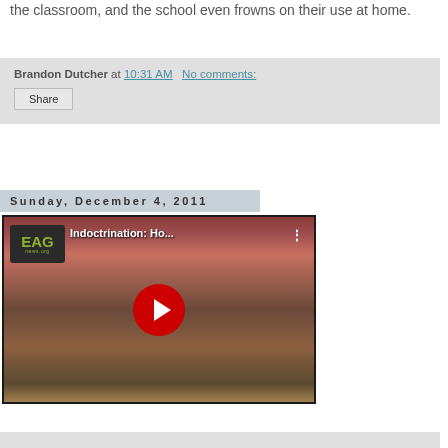the classroom, and the school even frowns on their use at home.
Brandon Dutcher at 10:31 AM   No comments:
Share
Sunday, December 4, 2011
[Figure (screenshot): YouTube video thumbnail showing EAGnews.org logo, title 'Indoctrination: Ho...' and crowd of children on a stage with red play button overlay]